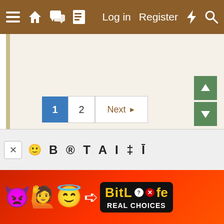Navigation bar with menu, home, chat, document icons; Log in, Register, lightning, search
[Figure (screenshot): Main content area - blank/empty whitish page background]
1  2  Next ▶
[Figure (screenshot): Scroll up and scroll down green arrow buttons on right side]
[Figure (screenshot): Bottom toolbar with X close button, smiley icon, and text formatting icons (B, T, A, I, etc.)]
[Figure (advertisement): BitLife advertisement banner with devil, girl, angel emojis; BitLife logo with REAL CHOICES text]